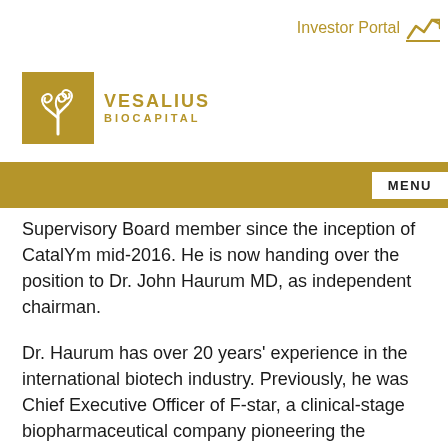Investor Portal
[Figure (logo): Vesalius Biocapital logo — gold square with stylized tree/plant icon, text VESALIUS BIOCAPITAL to the right]
Supervisory Board member since the inception of CatalYm mid-2016. He is now handing over the position to Dr. John Haurum MD, as independent chairman.
Dr. Haurum has over 20 years' experience in the international biotech industry. Previously, he was Chief Executive Officer of F-star, a clinical-stage biopharmaceutical company pioneering the development of novel bispecific antibodies, which entered multiple strategic collaborations including Denali and Merck KGaA under his leadership. Dr. Haurum is also serving on the